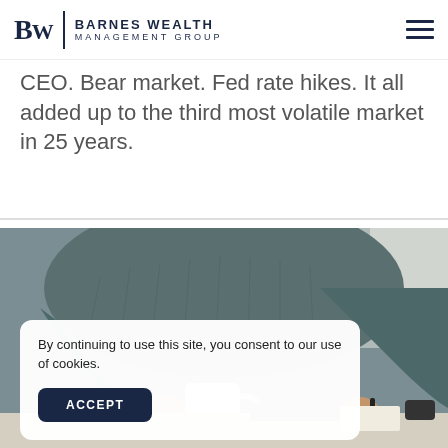Barnes Wealth Management Group
CEO. Bear market. Fed rate hikes. It all added up to the third most volatile market in 25 years.
[Figure (photo): Person sitting at desk holding a coffee mug in one hand and a pen in the other, with a laptop and documents on the desk, near a window]
By continuing to use this site, you consent to our use of cookies.